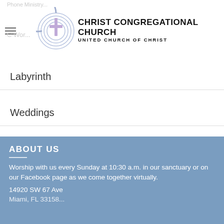Christ Congregational Church - United Church of Christ
Labyrinth
Weddings
Baptisms
ABOUT US
Worship with us every Sunday at 10:30 a.m. in our sanctuary or on our Facebook page as we come together virtually.
14920 SW 67 Ave
Miami, FL 33158